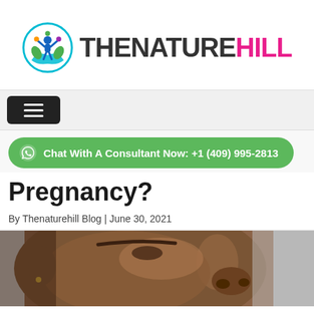[Figure (logo): TheNatureHill logo with colorful circle icon of people and the brand name]
[Figure (other): Hamburger menu navigation button (three white lines on black background)]
Chat With A Consultant Now: +1 (409) 995-2813
Pregnancy?
By Thenaturehill Blog | June 30, 2021
[Figure (photo): Close-up side profile photo of a Black woman's face showing clear skin, a small earring visible]